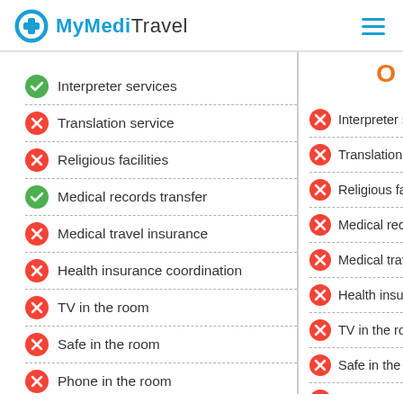MyMediTravel
Interpreter services
Translation service
Religious facilities
Medical records transfer
Medical travel insurance
Health insurance coordination
TV in the room
Safe in the room
Phone in the room
Private rooms for patients